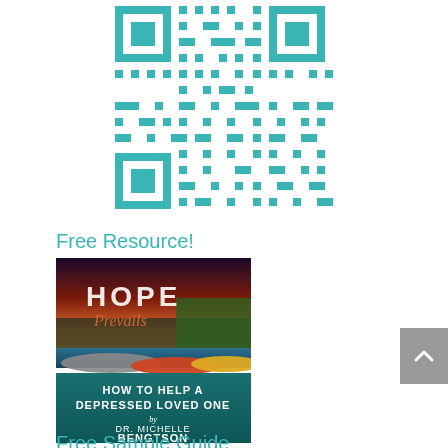[Figure (other): QR code in teal/cyan color]
Free Resource!
[Figure (illustration): Book cover: 'Hope Prevails: How to Help a Depressed Loved One by Dr. Michelle Bengtson'. Top half shows colorful canoes on a lake with dramatic sky; bottom half is teal with white text.]
Free Sample Guide...